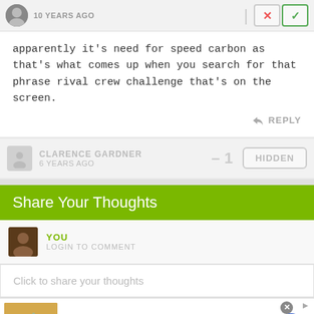10 YEARS AGO
apparently it's need for speed carbon as that's what comes up when you search for that phrase rival crew challenge that's on the screen.
REPLY
CLARENCE GARDNER
6 YEARS AGO
−1
HIDDEN
Share Your Thoughts
YOU
LOGIN TO COMMENT
Click to share your thoughts
[Figure (screenshot): Advertisement banner for 1800flowers.com showing gift products image, 'Explore Our Gifts & More' headline, 'Personalized Gifts - Spa Baskets - Get Sets' description, www.1800flowers.com URL, close button, and blue arrow navigation button]